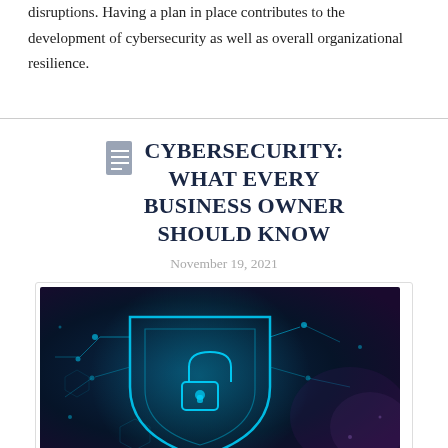disruptions. Having a plan in place contributes to the development of cybersecurity as well as overall organizational resilience.
CYBERSECURITY: WHAT EVERY BUSINESS OWNER SHOULD KNOW
November 19, 2021
[Figure (photo): Digital cybersecurity shield with glowing blue circuit lines and lock symbol on dark blue background]